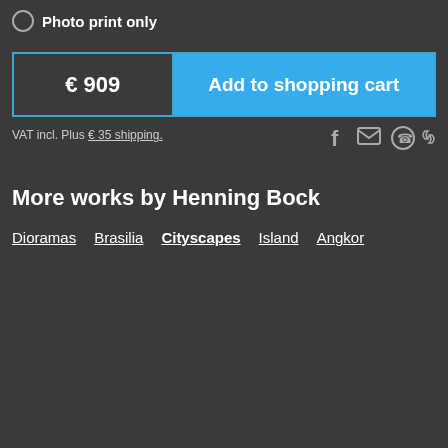Photo print only
€ 909  Add to shopping cart
VAT incl. Plus € 35 shipping.
More works by Henning Bock
Dioramas  Brasilia  Cityscapes  Island  Angkor